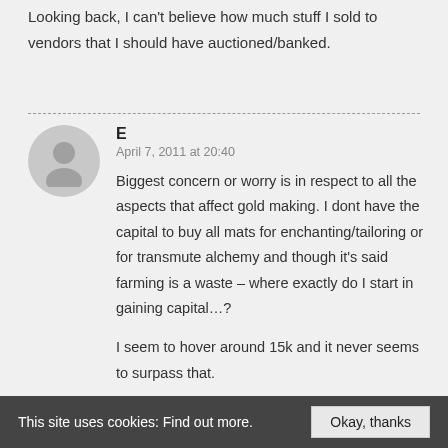Looking back, I can't believe how much stuff I sold to vendors that I should have auctioned/banked.
E
April 7, 2011 at 20:40
Biggest concern or worry is in respect to all the aspects that affect gold making. I dont have the capital to buy all mats for enchanting/tailoring or for transmute alchemy and though it's said farming is a waste – where exactly do I start in gaining capital…?
I seem to hover around 15k and it never seems to surpass that.
This site uses cookies: Find out more. Okay, thanks